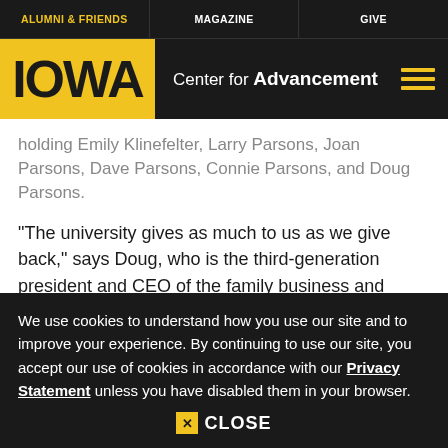ALUMNI & FRIENDS | MAGAZINE | GIVE
[Figure (logo): University of Iowa Center for Advancement logo with IOWA text on yellow background and hamburger menu icon]
holding Emily Klinefelter, Larry Parsons, Joan Parsons, Dave Parsons, Connie Parsons, and Doug Parsons.
"The university gives as much to us as we give back," says Doug, who is the third-generation president and CEO of the family business and whose wife, Connie
We use cookies to understand how you use our site and to improve your experience. By continuing to use our site, you accept our use of cookies in accordance with our Privacy Statement unless you have disabled them in your browser.
X CLOSE